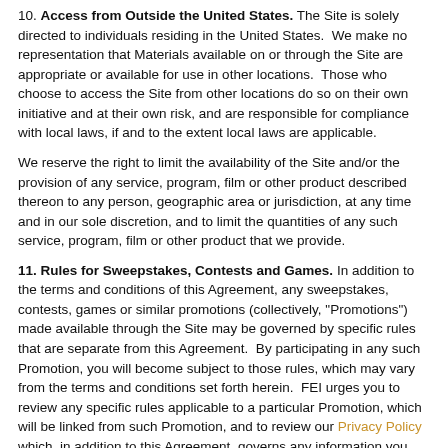10. Access from Outside the United States. The Site is solely directed to individuals residing in the United States. We make no representation that Materials available on or through the Site are appropriate or available for use in other locations. Those who choose to access the Site from other locations do so on their own initiative and at their own risk, and are responsible for compliance with local laws, if and to the extent local laws are applicable.
We reserve the right to limit the availability of the Site and/or the provision of any service, program, film or other product described thereon to any person, geographic area or jurisdiction, at any time and in our sole discretion, and to limit the quantities of any such service, program, film or other product that we provide.
11. Rules for Sweepstakes, Contests and Games. In addition to the terms and conditions of this Agreement, any sweepstakes, contests, games or similar promotions (collectively, "Promotions") made available through the Site may be governed by specific rules that are separate from this Agreement. By participating in any such Promotion, you will become subject to those rules, which may vary from the terms and conditions set forth herein. FEI urges you to review any specific rules applicable to a particular Promotion, which will be linked from such Promotion, and to review our Privacy Policy which, in addition to this Agreement, governs any information you submit in connection with such activities. To the extent that the terms and conditions of such rules conflict with this Agreement, the terms and conditions of such rules shall control with respect to the particular Promotion.